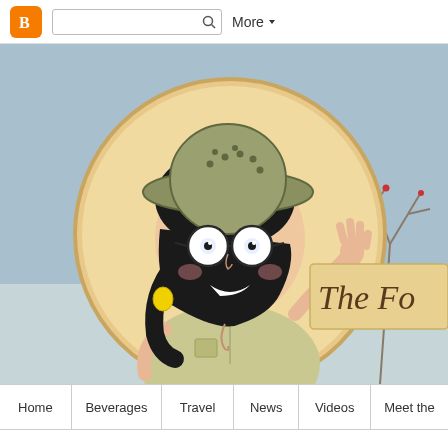Blogger toolbar with search and More button
[Figure (illustration): Blogger website banner showing a cartoon girl in a safari/explorer hat with round glasses, wearing a khaki shirt, waving and smiling inside a circular frame. Banner shows 'The Fo...' text on a tan banner ribbon. Background is a muted blue-gray winter scene with bare tree branches.]
Home | Beverages | Travel | News | Videos | Meet the
Thursday, October 3, 2013
Eve: "It Begins and Ends With The Custo